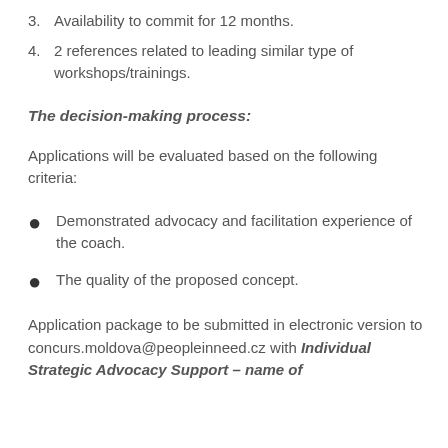3. Availability to commit for 12 months.
4. 2 references related to leading similar type of workshops/trainings.
The decision-making process:
Applications will be evaluated based on the following criteria:
Demonstrated advocacy and facilitation experience of the coach.
The quality of the proposed concept.
Application package to be submitted in electronic version to concurs.moldova@peopleinneed.cz with Individual Strategic Advocacy Support – name of